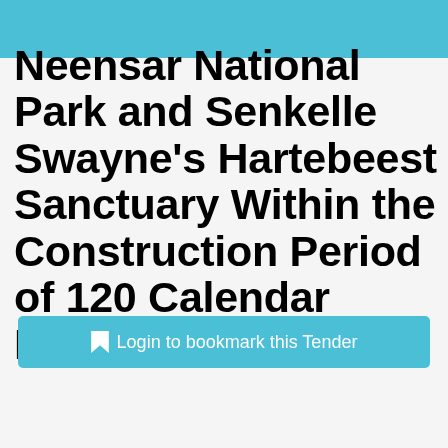Neensar National Park and Senkelle Swayne’s Hartebeest Sanctuary Within the Construction Period of 120 Calendar Days for Each Site.
Login to bookmark this Tender